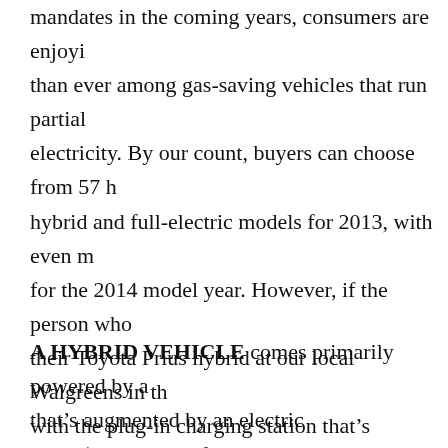mandates in the coming years, consumers are enjoying more choice than ever among gas-saving vehicles that run partially on electricity. By our count, buyers can choose from 57 hybrid and full-electric models for 2013, with even more for the 2014 model year. However, if the person who their Toyota Prius hybrid at our local Walgreens in the with the plug-in charging station that's designated "for only" is any indication, there's still some confusion an regarding the various electrified options available. He overview:
A HYBRID VEHICLE comes primarily powered by a that's augmented by an electric motor/generator and battery pack. The engine automatically shuts down w and at idle in most situations to help maximize milea hybrid like the 50 (it comes in this class.) Tom Pi